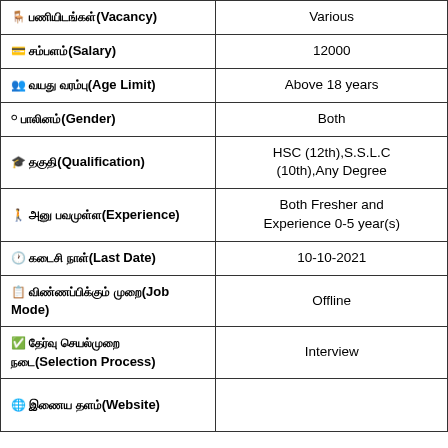| Field | Value |
| --- | --- |
| 🪑 பணியிடங்கள்(Vacancy) | Various |
| 💳 சம்பளம்(Salary) | 12000 |
| 👥 வயது வரம்பு(Age Limit) | Above 18 years |
| ⚬ பாலினம்(Gender) | Both |
| 🎓 தகுதி(Qualification) | HSC (12th),S.S.L.C (10th),Any Degree |
| 🚶 அனு பவமுள்ள(Experience) | Both Fresher and Experience 0-5 year(s) |
| 🕐 கடைசி நாள்(Last Date) | 10-10-2021 |
| 📋 விண்ணப்பிக்கும் முறை(Job Mode) | Offline |
| ✅ தேர்வு செயல்முறை நடை(Selection Process) | Interview |
| 🌐 இணைய தளம்(Website) |  |